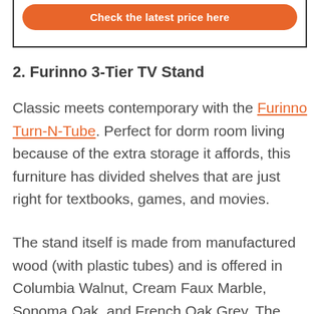[Figure (other): Orange rounded button with white text 'Check the latest price here' inside a bordered box]
2. Furinno 3-Tier TV Stand
Classic meets contemporary with the Furinno Turn-N-Tube. Perfect for dorm room living because of the extra storage it affords, this furniture has divided shelves that are just right for textbooks, games, and movies.
The stand itself is made from manufactured wood (with plastic tubes) and is offered in Columbia Walnut, Cream Faux Marble, Sonoma Oak, and French Oak Grey. The